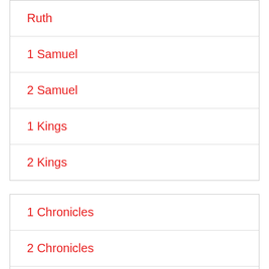Ruth
1 Samuel
2 Samuel
1 Kings
2 Kings
1 Chronicles
2 Chronicles
Ezra
Nehemiah
Tobit